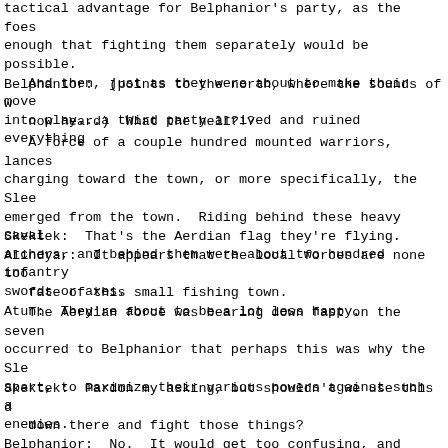tactical advantage for Belphanior's party, as the foes enough that fighting them separately would be possible.
   And then, just as they were about to make their move into play...a third party arrived and ruined everything
Belphanior:  (points to the north, where the sounds of w
   now heard)  What the hell?!?
A force of a couple hundred mounted warriors, lances charging toward the town, or more specifically, the Slee emerged from the town.  Riding behind these heavy caval archers, and behind them were about two hundred infantry swords or axes.
Skektek:  That's the Aerdian flag they're flying.
Alindyar:  It appears that the local forces are none too
   fate of this small fishing town.
Atun:  They're about to be a lot less happy.
The Aerdian force was bearing down fast on the seven occurred to Belphanior that perhaps this was why the Sl apart, to maximize their various powers against such a enemies.
Skektek:  Pardon my asking, but shouldn't we use this d
   down there and fight those things?
Belphanior:  No.  It would get too confusing, and we'd backs against the Aerdians too.  Besides, this is a g to see what those other three Sleepers can do.
Sir Dremel:  (angry)  We cannot just let those people d